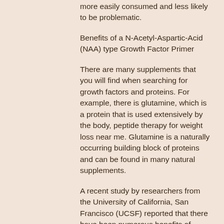more easily consumed and less likely to be problematic.
Benefits of a N-Acetyl-Aspartic-Acid (NAA) type Growth Factor Primer
There are many supplements that you will find when searching for growth factors and proteins. For example, there is glutamine, which is a protein that is used extensively by the body, peptide therapy for weight loss near me. Glutamine is a naturally occurring building block of proteins and can be found in many natural supplements.
A recent study by researchers from the University of California, San Francisco (UCSF) reported that there have been numerous benefits of glutamine in the body over the last century, best cutting steroids reddit0.